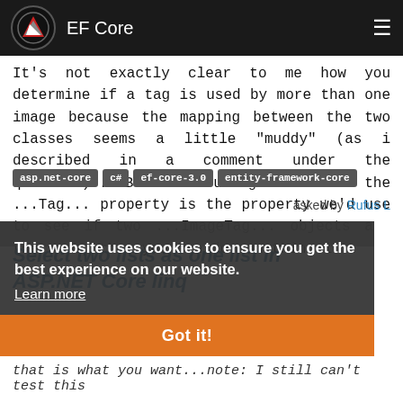EF Core
It's not exactly clear to me how you determine if a tag is used by more than one image because the mapping between the two classes seems a little "muddy" (as i described in a comment under the question)....But assuming that the ...Tag... property is the property we'd use to see if two ...ImageTag... objects are the same, then you can do something l...
asp.net-core
c#
ef-core-3.0
entity-framework-core
asked by Rufus L
Select two lists as one list in ASP.NET Core linq
This website uses cookies to ensure you get the best experience on our website.
Learn more
Got it!
that is what you want...note: I still can't test this